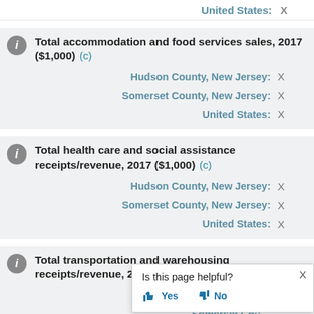United States: X
Total accommodation and food services sales, 2017 ($1,000) (c)
Hudson County, New Jersey: X
Somerset County, New Jersey: X
United States: X
Total health care and social assistance receipts/revenue, 2017 ($1,000) (c)
Hudson County, New Jersey: X
Somerset County, New Jersey: X
United States: X
Total transportation and warehousing receipts/revenue, 2017 ($1,000) (c)
Hudson County, New Jersey: X
Somerset County, New Jersey: X
[Figure (screenshot): Is this page helpful? Yes / No popup dialog with thumbs up and down icons and close X button]